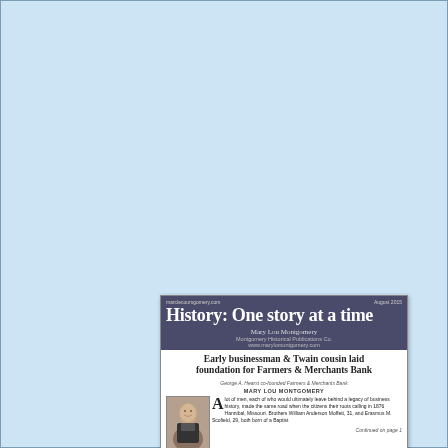[Figure (screenshot): Newsletter page thumbnail showing 'History: One story at a time' by Mary Lou Montgomery, with article headline 'Early businessman & Twain cousin laid foundation for Farmers & Merchants Bank', portrait of George A. Hearst, article text, and an image of an old bank check from Haeco Farmers' & Merchants' Bank.]